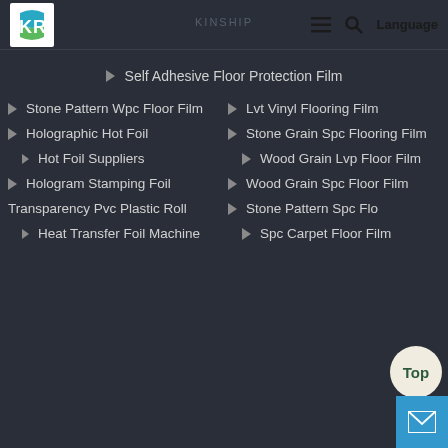KR | Language
Self Adhesive Floor Protection Film
Stone Pattern Wpc Floor Film
Lvt Vinyl Flooring Film
Holographic Hot Foil
Stone Grain Spc Flooring Film
Hot Foil Suppliers
Wood Grain Lvp Floor Film
Hologram Stamping Foil
Wood Grain Spc Floor Film
Transparency Pvc Plastic Roll
Stone Pattern Spc Flo...
Heat Transfer Foil Machine
Spc Carpet Floor Film